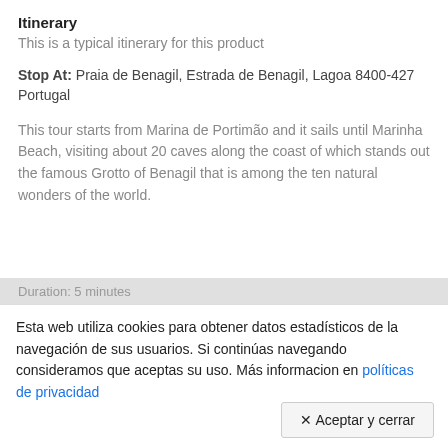Itinerary
This is a typical itinerary for this product
Stop At: Praia de Benagil, Estrada de Benagil, Lagoa 8400-427 Portugal
This tour starts from Marina de Portimão and it sails until Marinha Beach, visiting about 20 caves along the coast of which stands out the famous Grotto of Benagil that is among the ten natural wonders of the world.
Duration: 5 minutes
Esta web utiliza cookies para obtener datos estadísticos de la navegación de sus usuarios. Si continúas navegando consideramos que aceptas su uso. Más informacion en políticas de privacidad
✕ Aceptar y cerrar